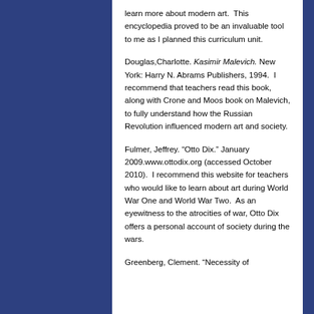learn more about modern art.  This encyclopedia proved to be an invaluable tool to me as I planned this curriculum unit.
Douglas,Charlotte. Kasimir Malevich. New York: Harry N. Abrams Publishers, 1994.  I recommend that teachers read this book, along with Crone and Moos book on Malevich, to fully understand how the Russian Revolution influenced modern art and society.
Fulmer, Jeffrey. “Otto Dix.” January 2009.www.ottodix.org (accessed October 2010).  I recommend this website for teachers who would like to learn about art during World War One and World War Two.  As an eyewitness to the atrocities of war, Otto Dix offers a personal account of society during the wars.
Greenberg, Clement. “Necessity of…